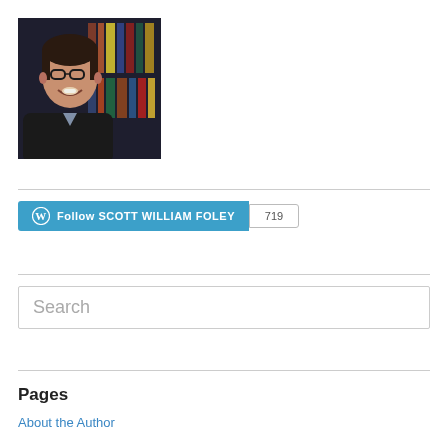[Figure (photo): Headshot photo of a smiling man with glasses, wearing a dark blazer and light shirt, with bookshelves in the background.]
Follow SCOTT WILLIAM FOLEY  719
Search
Pages
About the Author